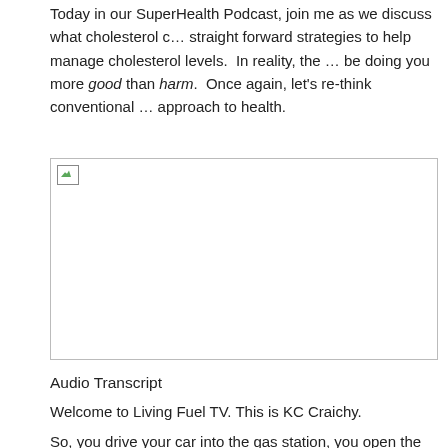Today in our SuperHealth Podcast, join me as we discuss what cholesterol c… straight forward strategies to help manage cholesterol levels. In reality, the … be doing you more good than harm. Once again, let's re-think conventional … approach to health.
[Figure (photo): Broken image placeholder with border, representing an embedded image related to the podcast content.]
Audio Transcript
Welcome to Living Fuel TV. This is KC Craichy.
So, you drive your car into the gas station, you open the gas lid and you put … tank. Then you have to click it a few times until it runs down the side of the c… backseat and you roll the back window down and you fill the backseat with f…